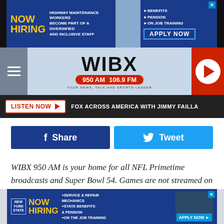[Figure (infographic): Top banner advertisement: NOW HIRING - Highway Maintenance Workers - Become part of a diversified and inclusive staff. Benefits, Pension, On Job Training. Apply Now.]
[Figure (logo): WIBX 950 AM 106.9 FM radio station header with hamburger menu icon on left, logo in center, and red play button circle on right.]
[Figure (infographic): Listen Now button bar with text: FOX ACROSS AMERICA WITH JIMMY FAILLA]
[Figure (infographic): Facebook Share button (dark blue) and Twitter Tweet button (light blue)]
WIBX 950 AM is your home for all NFL Primetime broadcasts and Super Bowl 54. Games are not streamed on the WIBX 950 app.
[Figure (infographic): Bottom banner advertisement: New York State NOW HIRING - Service & Repair Mechanics, State Benefits & Pension, On the Job Training. Apply Now.]